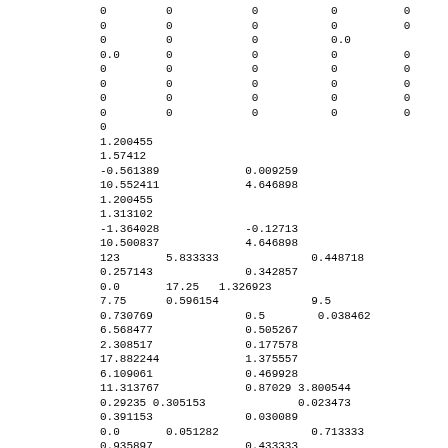0         0            0           0          0
0         0            0           0          0
0         0            0           0.0
0.0       0            0           0          0
0         0            0           0          0
0         0            0           0          0
0         0            0           0          0
0         0            0           0          0
0
1.200455
1.57412
-0.561389             0.009259
10.552411             4.646898
1.200455
1.313102
-1.364028             -0.12713
10.500837             4.646898
123       5.833333              0.448718
0.257143              0.342857
0.0       17.25   1.326923
7.75      0.596154              9.5
0.730769              0.5        0.038462
6.568477              0.505267
2.308517              0.177578
17.882244             1.375557
6.109061              0.469928
11.313767             0.87029 3.800544
0.29235 0.305153              0.023473
0.391153              0.030089
0.0       0.051282              0.713333
0.935897              0.433333
0.617949              0.935897
0.28      0.005285              0.194615